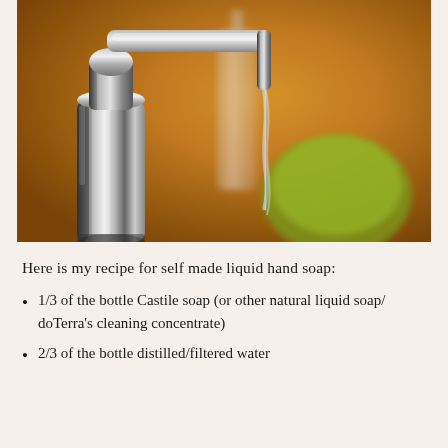[Figure (photo): Close-up photo of a chrome/silver liquid soap pump dispenser with liquid dripping from the spout. In the background there are blurred soap bottles and a green object, set against a warm brown background.]
Here is my recipe for self made liquid hand soap:
1/3 of the bottle Castile soap (or other natural liquid soap/ doTerra's cleaning concentrate)
2/3 of the bottle distilled/filtered water